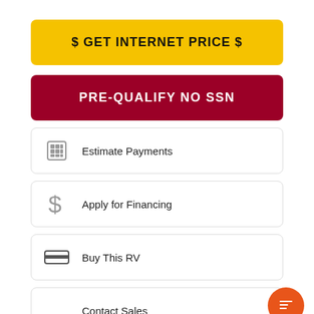$ GET INTERNET PRICE $
PRE-QUALIFY NO SSN
Estimate Payments
Apply for Financing
Buy This RV
Contact Sales